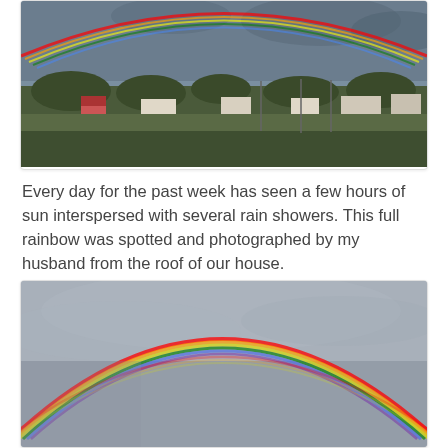[Figure (photo): Panoramic photo of a rainbow over a suburban landscape with houses and trees under a partly cloudy sky]
Every day for the past week has seen a few hours of sun interspersed with several rain showers. This full rainbow was spotted and photographed by my husband from the roof of our house.
[Figure (photo): Photo of a full arc rainbow against a grey overcast sky, with another partial rainbow faintly visible below it]